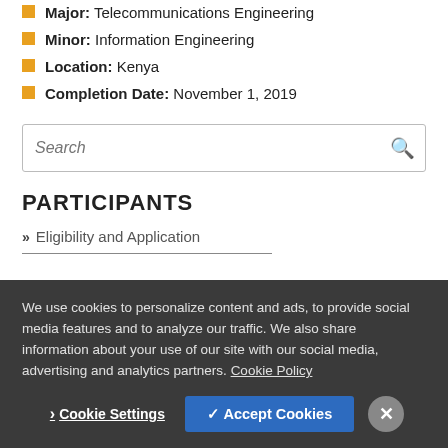Major: Telecommunications Engineering
Minor: Information Engineering
Location: Kenya
Completion Date: November 1, 2019
[Figure (other): Search input box with magnifying glass icon]
PARTICIPANTS
» Eligibility and Application
We use cookies to personalize content and ads, to provide social media features and to analyze our traffic. We also share information about your use of our site with our social media, advertising and analytics partners. Cookie Policy
Cookie Settings   ✓ Accept Cookies